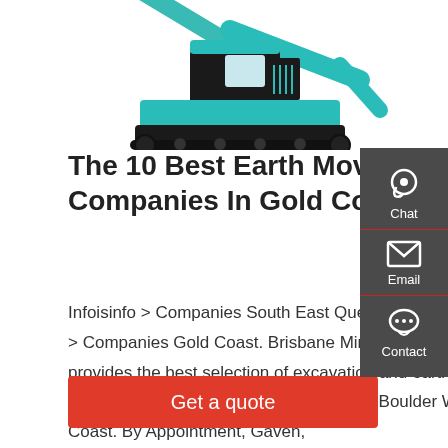[Figure (photo): Teal/blue excavator with hydraulic hammer attachment on white background, partially cropped at top]
The 10 Best Earth Moving Equipment Companies In Gold Coast
Infoisinfo > Companies South East Queensland - QLD Region > Companies Gold Coast. Brisbane Mini Excavators or BME provides the best selection of excavation and earthmoving machineries in their industry. 4 - Phoenix Boulder Walls - Gold Coast. By Appointment, Gaven,
Get a quote